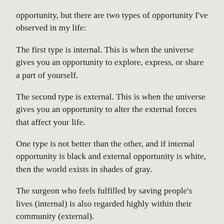opportunity, but there are two types of opportunity I've observed in my life:
The first type is internal. This is when the universe gives you an opportunity to explore, express, or share a part of yourself.
The second type is external. This is when the universe gives you an opportunity to alter the external forces that affect your life.
One type is not better than the other, and if internal opportunity is black and external opportunity is white, then the world exists in shades of gray.
The surgeon who feels fulfilled by saving people's lives (internal) is also regarded highly within their community (external).